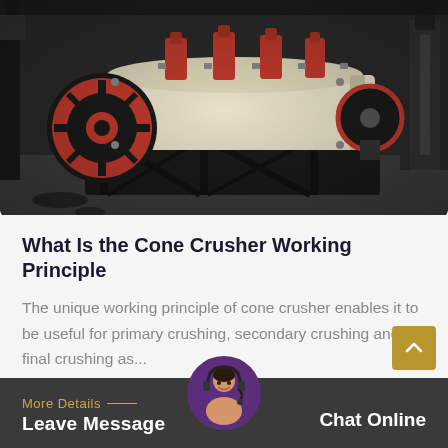[Figure (photo): Industrial cone crusher machine in a factory setting. The machine has a large red flywheel on the left side, red hydraulic cylinders on top, a cream/beige body, and a heavy black steel frame. Background shows other industrial machinery.]
What Is the Cone Crusher Working Principle
The unique working principle of cone crusher enables it to be useful for primary crushing, secondary crushing and final crushing as...
More Details — Leave Message    Chat Online